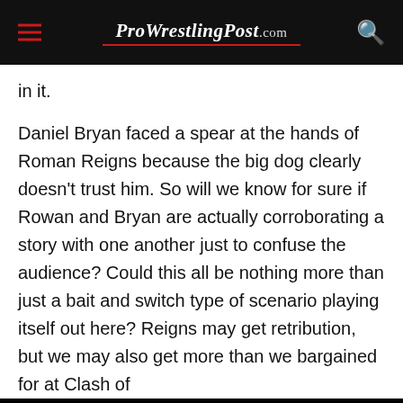ProWrestlingPost.com
in it.
Daniel Bryan faced a spear at the hands of Roman Reigns because the big dog clearly doesn't trust him. So will we know for sure if Rowan and Bryan are actually corroborating a story with one another just to confuse the audience? Could this all be nothing more than just a bait and switch type of scenario playing itself out here? Reigns may get retribution, but we may also get more than we bargained for at Clash of
[Figure (photo): Airline cargo advertisement banner showing a cargo plane being loaded with packages, with text 'WITHOUT REGARD TO POLITICS, RELIGION, OR ABILITY TO PAY']